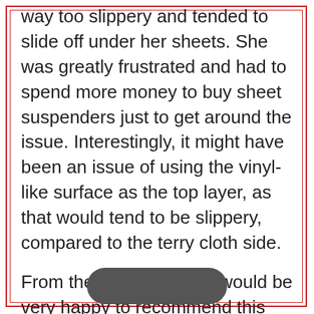way too slippery and tended to slide off under her sheets. She was greatly frustrated and had to spend more money to buy sheet suspenders just to get around the issue. Interestingly, it might have been an issue of using the vinyl-like surface as the top layer, as that would tend to be slippery, compared to the terry cloth side.

From these findings, we would be very happy to recommend this mattress protector for you.